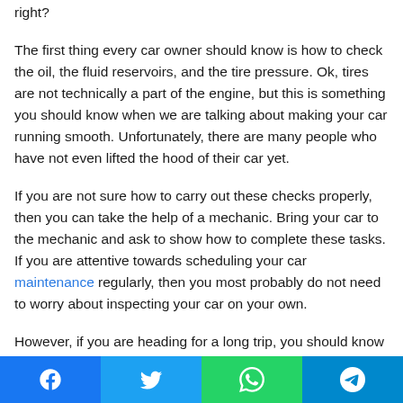right?
The first thing every car owner should know is how to check the oil, the fluid reservoirs, and the tire pressure. Ok, tires are not technically a part of the engine, but this is something you should know when we are talking about making your car running smooth. Unfortunately, there are many people who have not even lifted the hood of their car yet.
If you are not sure how to carry out these checks properly, then you can take the help of a mechanic. Bring your car to the mechanic and ask to show how to complete these tasks. If you are attentive towards scheduling your car maintenance regularly, then you most probably do not need to worry about inspecting your car on your own.
However, if you are heading for a long trip, you should know
Facebook Twitter WhatsApp Telegram